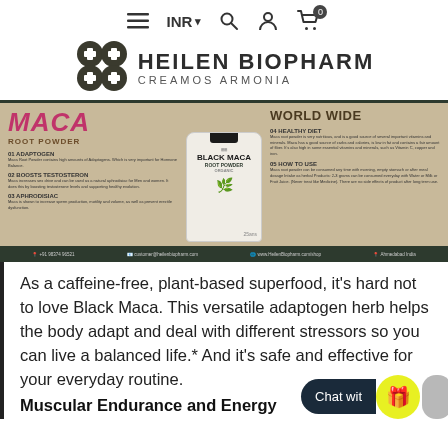≡  INR ▾  🔍  👤  🛒 0
[Figure (logo): Heilen Biopharm logo with text HEILEN BIOPHARM CREAMOS ARMONIA]
[Figure (photo): Black Maca Root Powder product banner showing product bag and benefits including Adaptogen, Boosts Testosteron, Aphrodisiac, Healthy Diet, How to Use sections. WORLD WIDE text on right side.]
As a caffeine-free, plant-based superfood, it's hard not to love Black Maca. This versatile adaptogen herb helps the body adapt and deal with different stressors so you can live a balanced life.* And it's safe and effective for your everyday routine.
Muscular Endurance and Energy